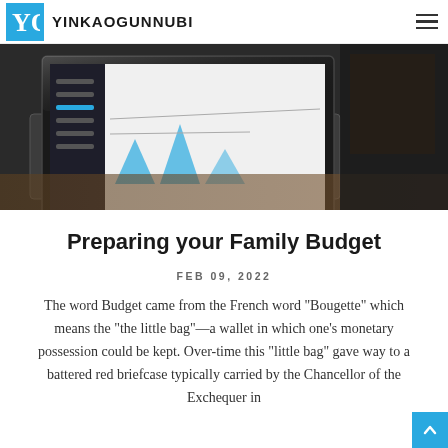YINKAOGUNNUBI
[Figure (photo): A laptop computer on a desk showing a spreadsheet or dashboard, photographed from an angle with dark background and wooden surface visible]
Preparing your Family Budget
FEB 09, 2022
The word Budget came from the French word "Bougette" which means the "the little bag"—a wallet in which one's monetary possession could be kept. Over-time this "little bag" gave way to a battered red briefcase typically carried by the Chancellor of the Exchequer in